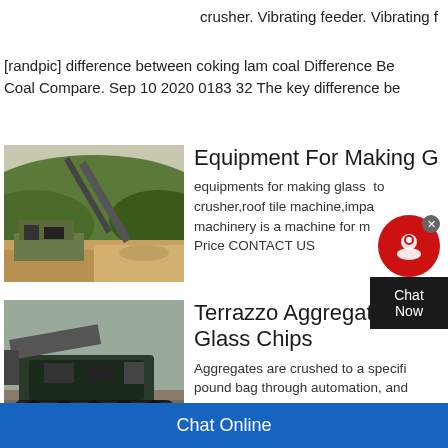crusher. Vibrating feeder. Vibrating f
[randpic] difference between coking lam coal Difference Be Coal Compare. Sep 10 2020 0183 32 The key difference be
[Figure (photo): Outdoor quarry/mining equipment scene with conveyor belt and machinery on dirt ground with hills in background]
Equipment For Making Glass Chips
equipments for making glass to crusher,roof tile machine,impa machinery is a machine for m Price CONTACT US
[Figure (photo): Heavy machinery/crusher equipment on dirt ground, appears to be a mobile crusher or similar mining machine]
Terrazzo Aggregates Crusher Glass Chips
Aggregates are crushed to a specifi pound bag through automation, and TERRAZZCO has the capabilities to glass chips daily primarily sourced f
Chat Online